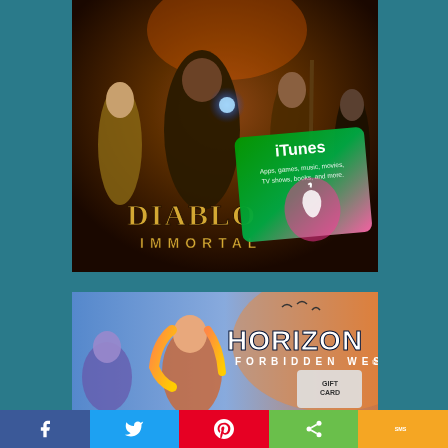[Figure (photo): Diablo Immortal game promotional image showing fantasy characters in dark armor with an iTunes gift card overlaid in the bottom right corner. Text reads 'DIABLO IMMORTAL' and the iTunes card shows 'iTunes - Apps, games, music, movies, TV shows, books, and more.']
[Figure (photo): Horizon Forbidden West game promotional image showing the main character Aloy with flowing orange hair against a colorful sky, with a gift card partially visible in the bottom right corner. Text reads 'HORIZON FORBIDDEN WEST'.]
[Figure (infographic): Social media share bar with five buttons: Facebook (blue with f icon), Twitter (light blue with bird icon), Pinterest (red with P icon), Share (green with share icon), SMS (orange/yellow with SMS text)]